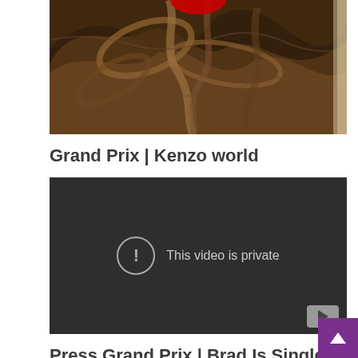[Figure (photo): Decorative dark brown artistic image with swirling wood-like or ribbon-like shapes and floral elements, partially cropped at top]
Grand Prix | Kenzo world
[Figure (screenshot): Embedded video player with dark background showing 'This video is private' message with an exclamation circle icon, and a YouTube play button in the bottom right corner]
Press Grand Prix | Brad Is Single